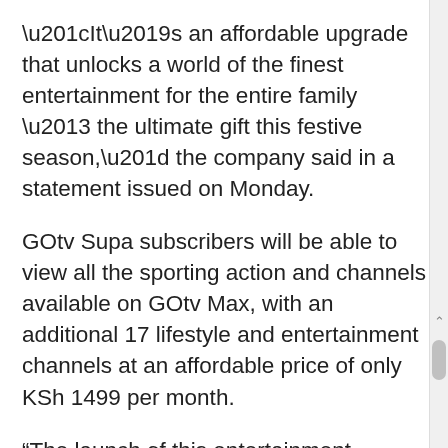“It’s an affordable upgrade that unlocks a world of the finest entertainment for the entire family – the ultimate gift this festive season,” the company said in a statement issued on Monday.
GOtv Supa subscribers will be able to view all the sporting action and channels available on GOtv Max, with an additional 17 lifestyle and entertainment channels at an affordable price of only KSh 1499 per month.
“The launch of this entertainment-focused GOtv package will allow our subscribers to do exactly that. With more choice and greater entertainment value, the new GOtv SUPA package joins an already extensive lineup of